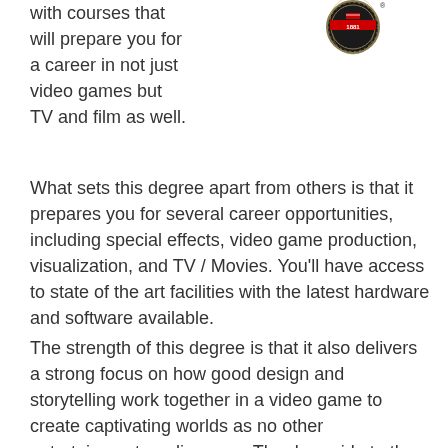[Figure (logo): Circular institutional seal/emblem with red banner and text '1881', black background with decorative border]
with courses that will prepare you for a career in not just video games but TV and film as well.
What sets this degree apart from others is that it prepares you for several career opportunities, including special effects, video game production, visualization, and TV / Movies. You'll have access to state of the art facilities with the latest hardware and software available.
The strength of this degree is that it also delivers a strong focus on how good design and storytelling work together in a video game to create captivating worlds as no other entertainment medium can. The downside to the school is that there really isn't a